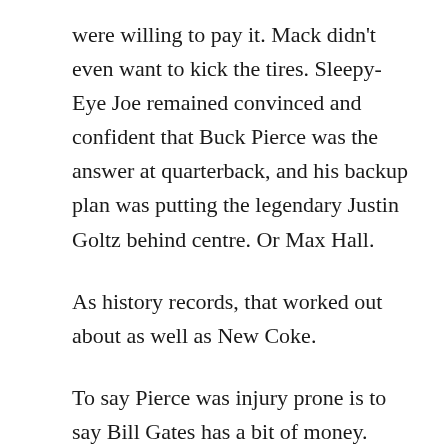were willing to pay it. Mack didn't even want to kick the tires. Sleepy-Eye Joe remained convinced and confident that Buck Pierce was the answer at quarterback, and his backup plan was putting the legendary Justin Goltz behind centre. Or Max Hall.
As history records, that worked out about as well as New Coke.
To say Pierce was injury prone is to say Bill Gates has a bit of money. When fit enough to actually start a game, they didn't strap a play chart to Brittle Buck's left wrist. It was an IV needle. He didn't survive the first month of the '13 season, leaving various body parts and what was left of his marbles strewn on the field.